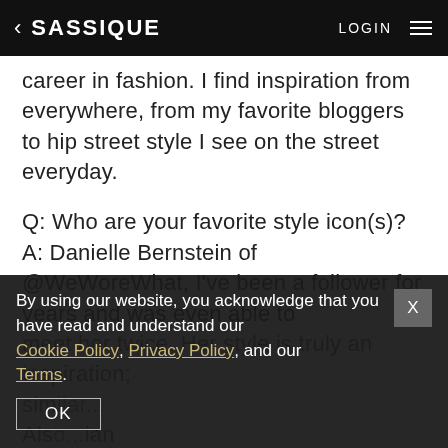SASSIQUE  LOGIN
career in fashion. I find inspiration from everywhere, from my favorite bloggers to hip street style I see on the street everyday.
Q: Who are your favorite style icon(s)?
A: Danielle Bernstein of @WeWoreWhat, I've been a follower for years and was even able to meet her twice. Her style is truly an inspiration; sim[ilar]... Als[o]... ian
Q: [What are your] favorite fashion blogs? Magazines?
A: [various fashion magazines and the bloggers you trust...]
By using our website, you acknowledge that you have read and understand our Cookie Policy, Privacy Policy, and our Terms.